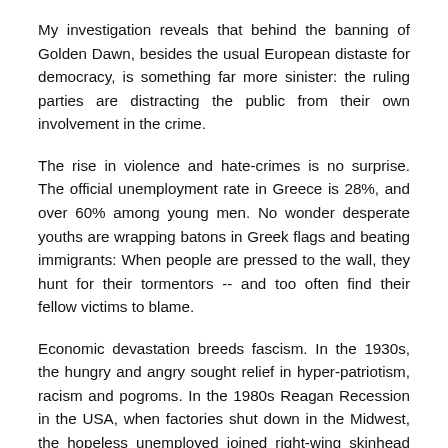My investigation reveals that behind the banning of Golden Dawn, besides the usual European distaste for democracy, is something far more sinister: the ruling parties are distracting the public from their own involvement in the crime.
The rise in violence and hate-crimes is no surprise. The official unemployment rate in Greece is 28%, and over 60% among young men. No wonder desperate youths are wrapping batons in Greek flags and beating immigrants: When people are pressed to the wall, they hunt for their tormentors -- and too often find their fellow victims to blame.
Economic devastation breeds fascism. In the 1930s, the hungry and angry sought relief in hyper-patriotism, racism and pogroms. In the 1980s Reagan Recession in the USA, when factories shut down in the Midwest, the hopeless unemployed joined right-wing skinhead cults and went on a killing rampage -- beginning with the murder of Jewish journalist